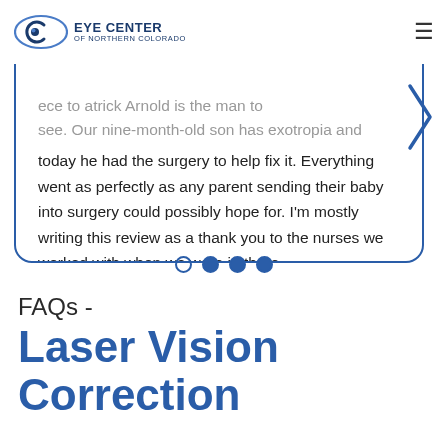Eye Center of Northern Colorado
if you have a baby with eye problems, this is the place to see. Patrick Arnold is the man to see. Our nine-month-old son has exotropia and today he had the surgery to help fix it. Everything went as perfectly as any parent sending their baby into surgery could possibly hope for. I'm mostly writing this review as a thank you to the nurses we worked with when we were in there.
[Figure (other): Carousel navigation dots: one empty circle followed by three filled circles]
FAQs - Laser Vision Correction